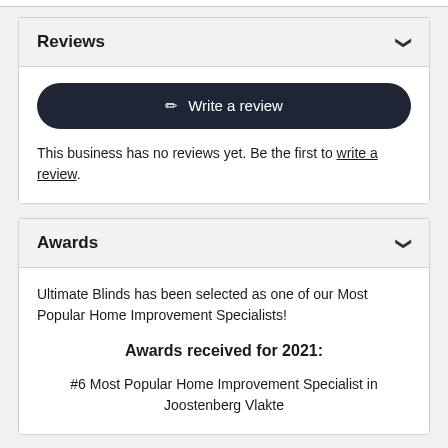Reviews
✏ Write a review
This business has no reviews yet. Be the first to write a review.
Awards
Ultimate Blinds has been selected as one of our Most Popular Home Improvement Specialists!
Awards received for 2021:
#6 Most Popular Home Improvement Specialist in Joostenberg Vlakte